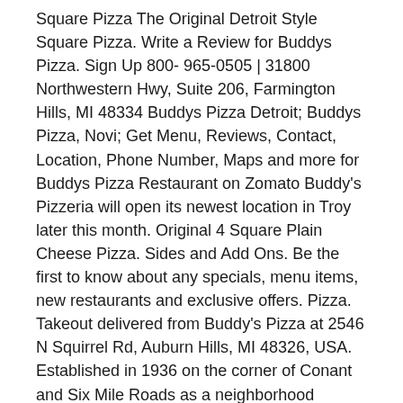Square Pizza The Original Detroit Style Square Pizza. Write a Review for Buddys Pizza. Sign Up 800- 965-0505 | 31800 Northwestern Hwy, Suite 206, Farmington Hills, MI 48334 Buddys Pizza Detroit; Buddys Pizza, Novi; Get Menu, Reviews, Contact, Location, Phone Number, Maps and more for Buddys Pizza Restaurant on Zomato Buddy's Pizzeria will open its newest location in Troy later this month. Original 4 Square Plain Cheese Pizza. Sides and Add Ons. Be the first to know about any specials, menu items, new restaurants and exclusive offers. Pizza. Takeout delivered from Buddy's Pizza at 2546 N Squirrel Rd, Auburn Hills, MI 48326, USA. Established in 1936 on the corner of Conant and Six Mile Roads as a neighborhood tavern, it was not until 1946 that Buddy's first introduced our famous square pizza — the first of its kind — to Detroit. More. Buddy's has been called one of the five best pizzerias in the United States by the Food Network. ... Prices on this menu are set directly by the Merchant.